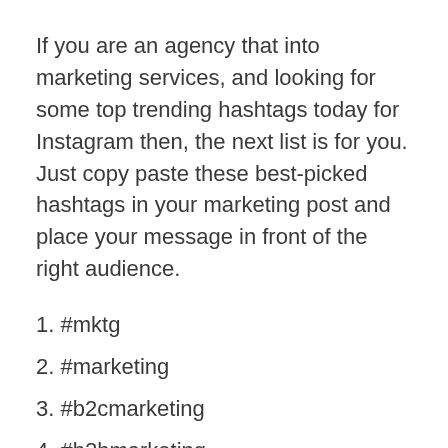If you are an agency that into marketing services, and looking for some top trending hashtags today for Instagram then, the next list is for you. Just copy paste these best-picked hashtags in your marketing post and place your message in front of the right audience.
1. #mktg
2. #marketing
3. #b2cmarketing
4. #b2bmarketing
5. #marketingstrategy
6. #socialmediamarketing